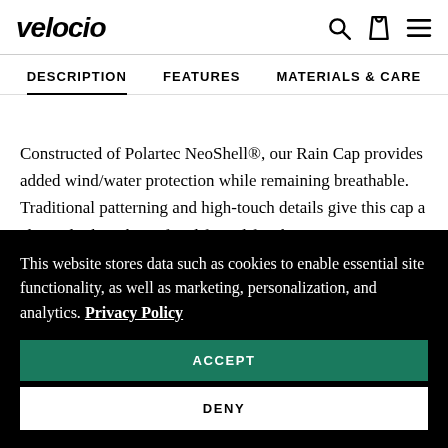velocio
DESCRIPTION | FEATURES | MATERIALS & CARE
Constructed of Polartec NeoShell®, our Rain Cap provides added wind/water protection while remaining breathable. Traditional patterning and high-touch details give this cap a classic look with a refined fit and finish.
This website stores data such as cookies to enable essential site functionality, as well as marketing, personalization, and analytics. Privacy Policy
ACCEPT
DENY